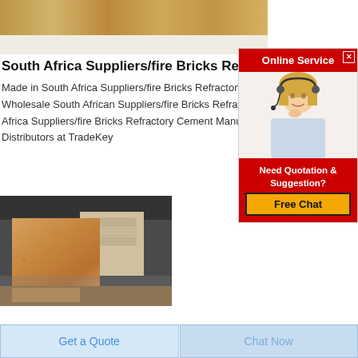[Figure (photo): Close-up of a fire brick / refractory brick product, sandy brown texture, top portion visible]
South Africa Suppliers/fire Bricks Refr...
Made in South Africa Suppliers/fire Bricks Refractory C... Wholesale South African Suppliers/fire Bricks Refracto... Africa Suppliers/fire Bricks Refractory Cement Manufa... Distributors at TradeKey
[Figure (photo): Photo of fire bricks / refractory bricks stacked in a warehouse setting, brown sandy brick face in foreground]
[Figure (screenshot): Online Service advertisement popup with red header, photo of blonde woman with headset, Need Quotation & Suggestion text, Free Chat yellow button]
Get a Quote
Chat Now